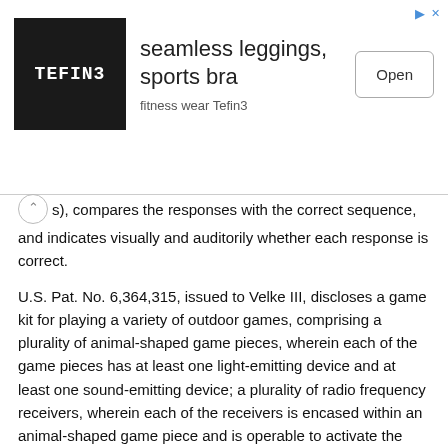[Figure (other): Advertisement banner for Tefin3 fitness wear showing logo, headline 'seamless leggings, sports bra', subtext 'fitness wear Tefin3', and an 'Open' button]
s), compares the responses with the correct sequence, and indicates visually and auditorily whether each response is correct.
U.S. Pat. No. 6,364,315, issued to Velke III, discloses a game kit for playing a variety of outdoor games, comprising a plurality of animal-shaped game pieces, wherein each of the game pieces has at least one light-emitting device and at least one sound-emitting device; a plurality of radio frequency receivers, wherein each of the receivers is encased within an animal-shaped game piece and is operable to activate the light-emitting device and the sound-emitting device; at least one radio frequency transmitter adapted to be worn by a player and operable to activate the radio frequency receivers; and a container for storing and transporting the game kit components. Each of the receivers is activated when a player wearing a transmitter enters a predetermined detection zone around each of the receivers, thereby causing the light-emitting device to emit light and the sound-emitting device to emit sound. The game kit preferably includes other components, such as a flag, a game book, a stopwatch, and balloons.
U.S. Patent Application Publication No.: 2005/0230914, by Campbell,